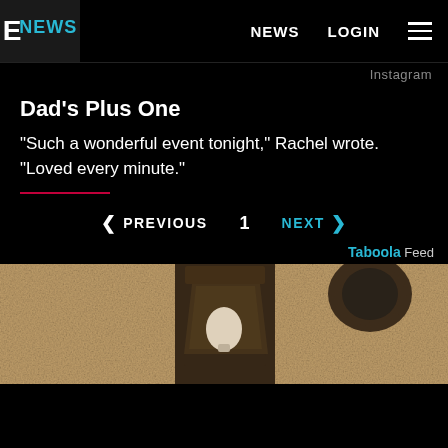E! NEWS | NEWS | LOGIN
Instagram
Dad's Plus One
"Such a wonderful event tonight," Rachel wrote. "Loved every minute."
< PREVIOUS   1   NEXT >
Taboola Feed
[Figure (photo): Close-up photo of an outdoor wall lantern/light fixture mounted on a textured stucco wall]